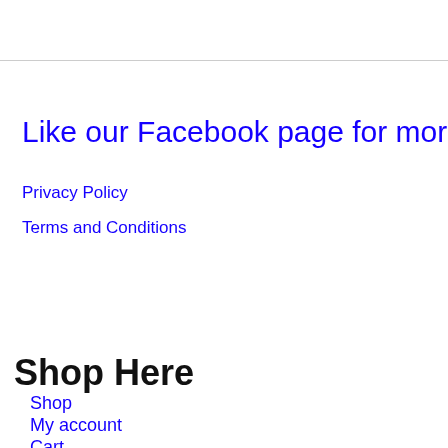Like our Facebook page for more
Privacy Policy
Terms and Conditions
Shop Here
Shop
My account
Cart
Checkout